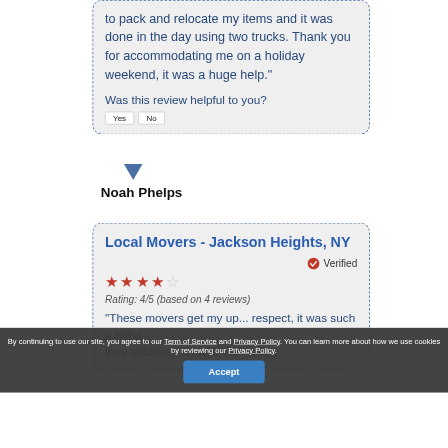to pack and relocate my items and it was done in the day using two trucks. Thank you for accommodating me on a holiday weekend, it was a huge help."
Was this review helpful to you? Yes No
Noah Phelps
Local Movers - Jackson Heights, NY
Verified
Rating: 4/5 (based on 4 reviews)
"These movers get my up... respect, it was such a hot d... they soldiered on with the move...
By continuing to use our site, you agree to our Term of Service and Privacy Policy. You can learn more about how we use cookies by reviewing our Privacy Policy.
Accept